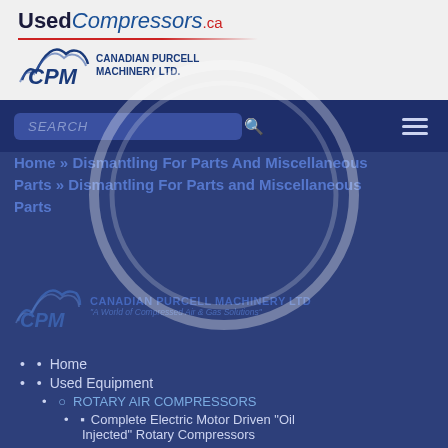UsedCompressors.ca
[Figure (logo): CPM Canadian Purcell Machinery Ltd. logo with stylized mountain/wave graphic]
[Figure (screenshot): Search bar with SEARCH placeholder text and search icon, and hamburger menu icon]
Home » Dismantling For Parts And Miscellaneous Parts » Dismantling For Parts and Miscellaneous Parts
[Figure (logo): CPM Canadian Purcell Machinery Ltd logo with tagline A World of Compressed Air & Gas Solutions]
Home
Used Equipment
ROTARY AIR COMPRESSORS
Complete Electric Motor Driven "Oil Injected" Rotary Compressors
Replacement Air Ends
RECIPROCATING AIR COMPRESSORS